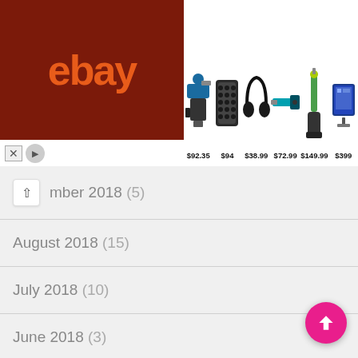[Figure (screenshot): eBay advertisement banner showing the eBay logo on a dark red background and product images (power drill set $92.35, Bose speaker $94, headphones $38.99, power tool $72.99, vacuum $149.99, tablet $399)]
mber 2018 (5)
August 2018 (15)
July 2018 (10)
June 2018 (3)
May 2018 (7)
April 2018 (1)
March 2018 (1)
February 2018 (1)
January 2018 (1)